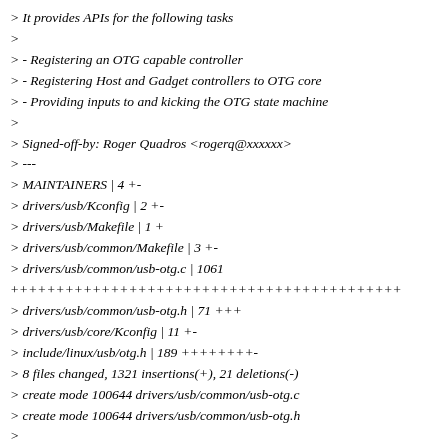> It provides APIs for the following tasks
>
> - Registering an OTG capable controller
> - Registering Host and Gadget controllers to OTG core
> - Providing inputs to and kicking the OTG state machine
>
> Signed-off-by: Roger Quadros <rogerq@xxxxxx>
> ---
> MAINTAINERS | 4 +-
> drivers/usb/Kconfig | 2 +-
> drivers/usb/Makefile | 1 +
> drivers/usb/common/Makefile | 3 +-
> drivers/usb/common/usb-otg.c | 1061
> ++++++++++++++++++++++++++++++++++++++++
> drivers/usb/common/usb-otg.h | 71 +++
> drivers/usb/core/Kconfig | 11 +-
> include/linux/usb/otg.h | 189 ++++++++-
> 8 files changed, 1321 insertions(+), 21 deletions(-)
> create mode 100644 drivers/usb/common/usb-otg.c
> create mode 100644 drivers/usb/common/usb-otg.h
>
... ...
> +